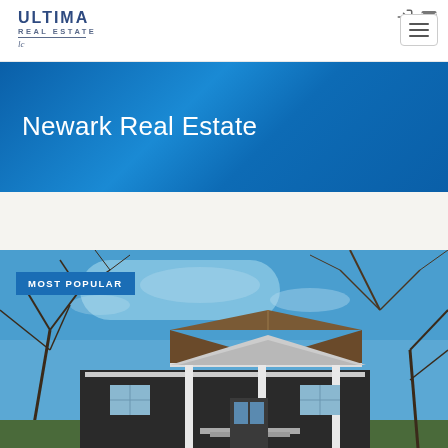Ultima Real Estate — navigation header with login and mail icons and hamburger menu
Newark Real Estate
[Figure (photo): Exterior photo of a residential house with bare winter trees and blue sky; badge overlay reads MOST POPULAR]